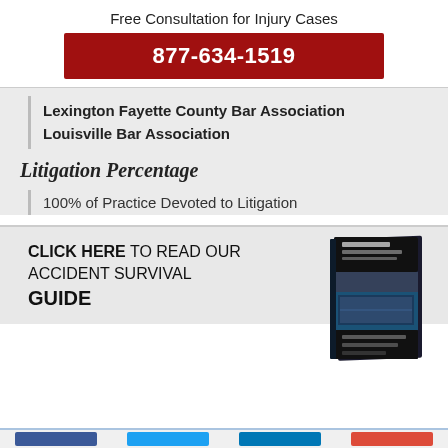Free Consultation for Injury Cases
877-634-1519
Lexington Fayette County Bar Association
Louisville Bar Association
Litigation Percentage
100% of Practice Devoted to Litigation
CLICK HERE TO READ OUR ACCIDENT SURVIVAL GUIDE
[Figure (photo): Book cover of Accident Survival Guide]
Social media links bar